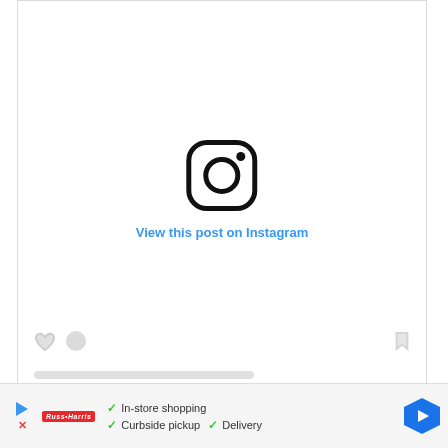[Figure (screenshot): Instagram embed placeholder card showing the Instagram logo icon centered with a 'View this post on Instagram' link below it, along with like/comment/bookmark icons at the bottom and a gray bar placeholder.]
[Figure (screenshot): Advertisement banner at the bottom showing a play button icon, an X close button, a red retailer logo, checkmarks with text 'In-store shopping', 'Curbside pickup', 'Delivery', and a blue hexagonal arrow icon.]